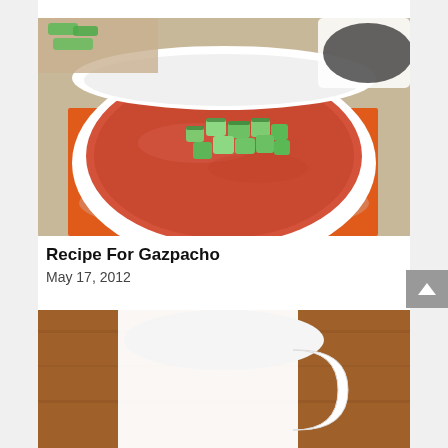[Figure (photo): A white bowl of gazpacho soup topped with diced cucumber pieces, placed on an orange patterned napkin on a white surface. Additional garnishes and a dark bowl visible in background.]
Recipe For Gazpacho
May 17, 2012
[Figure (photo): Partial view of a white bowl or pitcher with a handle, on a wooden surface — bottom portion of page, cropped.]